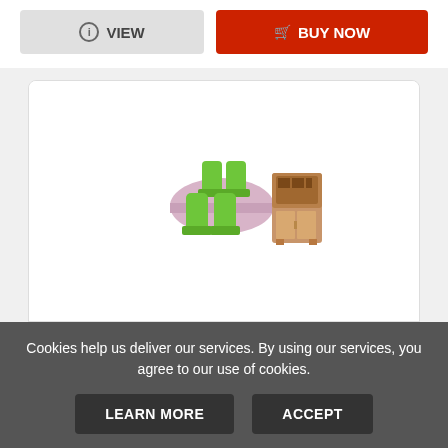[Figure (other): Two buttons: a grey VIEW button with info icon and a red BUY NOW button with cart icon]
[Figure (photo): Hape wooden doll house furniture dining set with green chairs and brown hutch/cabinet]
Hape Wooden Doll House Furniture Dining ...
Cookies help us deliver our services. By using our services, you agree to our use of cookies.
LEARN MORE
ACCEPT